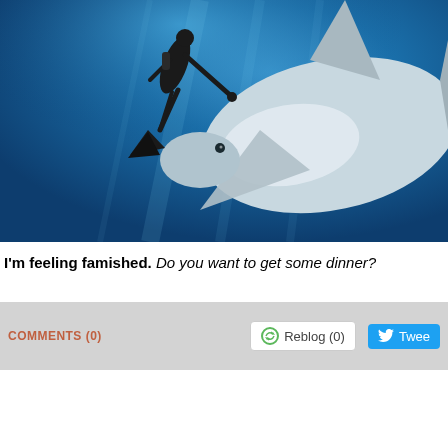[Figure (photo): Underwater photo of a scuba diver/freediver with flippers touching or approaching a large shark (likely a whale shark) from below, set against a deep blue ocean background.]
I'm feeling famished. Do you want to get some dinner?
COMMENTS (0)
Reblog (0)
Twee